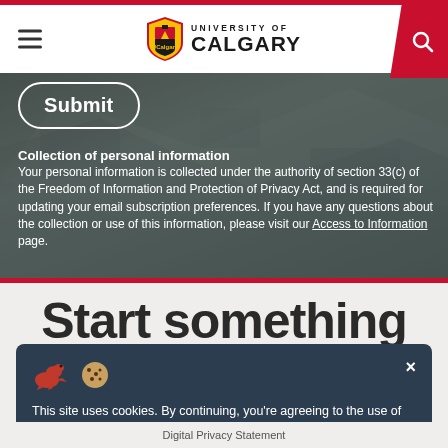[Figure (logo): University of Calgary logo with shield crest and text 'UNIVERSITY OF CALGARY']
Submit
Collection of personal information
Your personal information is collected under the authority of section 33(c) of the Freedom of Information and Protection of Privacy Act, and is required for updating your email subscription preferences. If you have any questions about the collection or use of this information, please visit our Access to Information page.
Start something
This site uses cookies. By continuing, you're agreeing to the use of cookies outlined in our Digital Privacy Statement.
Digital Privacy Statement